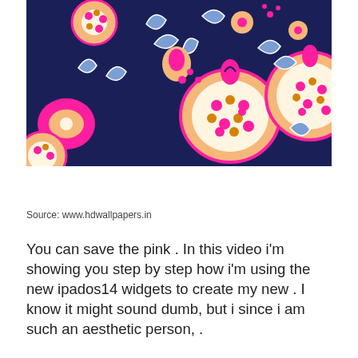[Figure (illustration): Colorful floral pattern on a dark navy blue background featuring pomegranates, flowers, and leaves in pink, orange, and light blue colors.]
Source: www.hdwallpapers.in
You can save the pink . In this video i'm showing you step by step how i'm using the new ipados14 widgets to create my new . I know it might sound dumb, but i since i am such an aesthetic person, .